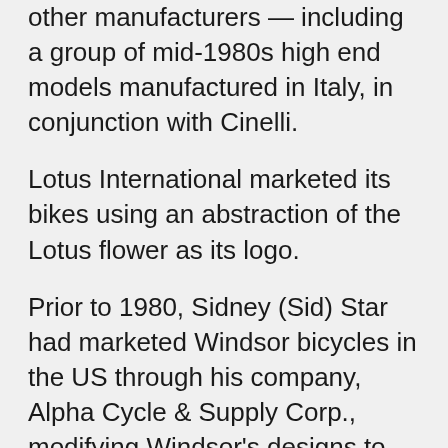other manufacturers — including a group of mid-1980s high end models manufactured in Italy, in conjunction with Cinelli.
Lotus International marketed its bikes using an abstraction of the Lotus flower as its logo.
Prior to 1980, Sidney (Sid) Star had marketed Windsor bicycles in the US through his company, Alpha Cycle & Supply Corp., modifying Windsor's designs to be competitive in the US market. His son, Ernst Star left a university job in 1980 to join with his father and start a new brand, manufactured in Japan — creating and registering the Lotus brand at that time, and turning to Tsunoda of